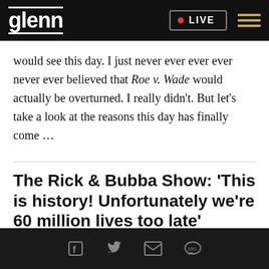glenn | LIVE
would see this day. I just never ever ever ever never ever believed that Roe v. Wade would actually be overturned. I really didn't. But let's take a look at the reasons this day has finally come …
The Rick & Bubba Show: 'This is history! Unfortunately we're 60 million lives too late'
Social share icons: Facebook, Twitter, Email, SMS